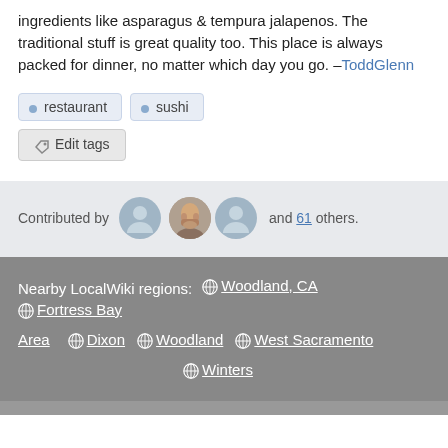ingredients like asparagus & tempura jalapenos. The traditional stuff is great quality too. This place is always packed for dinner, no matter which day you go. –ToddGlenn
restaurant
sushi
Edit tags
Contributed by [avatars] and 61 others.
Nearby LocalWiki regions: Woodland, CA  Fortress Bay Area  Dixon  Woodland  West Sacramento  Winters